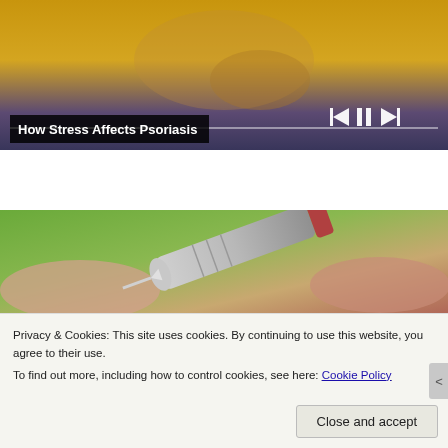[Figure (photo): Video player screenshot showing a person in a yellow sweater sitting on a couch clasping hands, with media controls (previous, pause, next) and a progress bar visible, overlaid with the title bar 'How Stress Affects Psoriasis']
How Stress Affects Psoriasis
[Figure (photo): Close-up photo of a hand holding an injection pen/auto-injector device, with a green blurred background]
Privacy & Cookies: This site uses cookies. By continuing to use this website, you agree to their use.
To find out more, including how to control cookies, see here: Cookie Policy
Close and accept